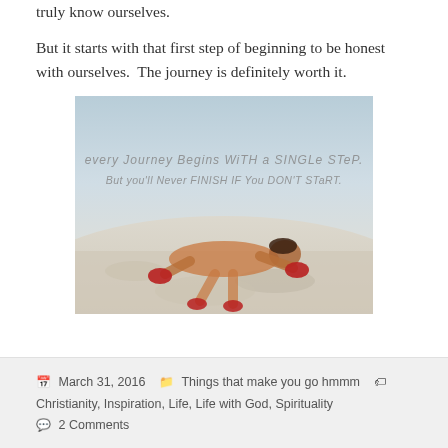truly know ourselves.
But it starts with that first step of beginning to be honest with ourselves.  The journey is definitely worth it.
[Figure (photo): Person doing push-ups on a rocky/sandy surface with motivational text overlay reading: 'every Journey Begins With a SINGLe STeP. But you'll Never FINISH IF You DON'T STaRT.']
March 31, 2016   Things that make you go hmmm   Christianity, Inspiration, Life, Life with God, Spirituality   2 Comments